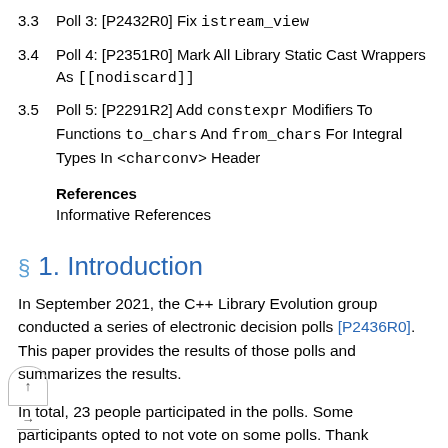3.3 Poll 3: [P2432R0] Fix istream_view
3.4 Poll 4: [P2351R0] Mark All Library Static Cast Wrappers As [[nodiscard]]
3.5 Poll 5: [P2291R2] Add constexpr Modifiers To Functions to_chars And from_chars For Integral Types In <charconv> Header
References
Informative References
§ 1. Introduction
In September 2021, the C++ Library Evolution group conducted a series of electronic decision polls [P2436R0]. This paper provides the results of those polls and summarizes the results.
In total, 23 people participated in the polls. Some participants opted to not vote on some polls. Thank